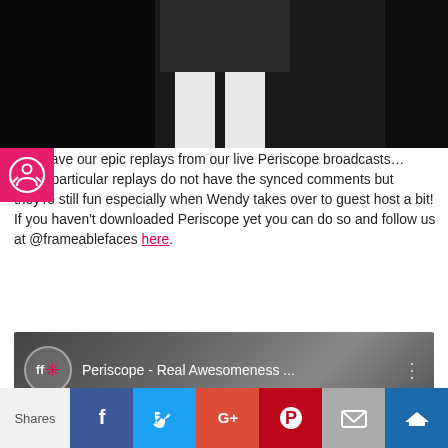[Figure (photo): Black and white video still showing a person from the waist down wearing a dark skirt, with a dark background]
t we have our epic replays from our live Periscope broadcasts… these particular replays do not have the synced comments but they're still fun especially when Wendy takes over to guest host a bit!  If you haven't downloaded Periscope yet you can do so and follow us at @frameablefaces here.
[Figure (screenshot): YouTube video thumbnail with ff logo and title 'Periscope - Real Awesomeness ...' with menu dots]
Shares
[Figure (infographic): Social share bar with Facebook, Twitter, Google+, Pinterest, Email, and Crown buttons]